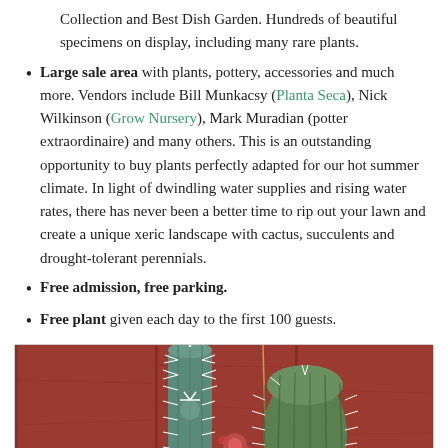Collection and Best Dish Garden. Hundreds of beautiful specimens on display, including many rare plants.
Large sale area with plants, pottery, accessories and much more. Vendors include Bill Munkacsy (Planta Seca), Nick Wilkinson (Grow Nursery), Mark Muradian (potter extraordinaire) and many others. This is an outstanding opportunity to buy plants perfectly adapted for our hot summer climate. In light of dwindling water supplies and rising water rates, there has never been a better time to rip out your lawn and create a unique xeric landscape with cactus, succulents and drought-tolerant perennials.
Free admission, free parking.
Free plant given each day to the first 100 guests.
[Figure (photo): Photo of two cacti against a red wooden fence background — a tall blue-green columnar cactus with white spines on the left and a rounder barrel cactus on the right.]